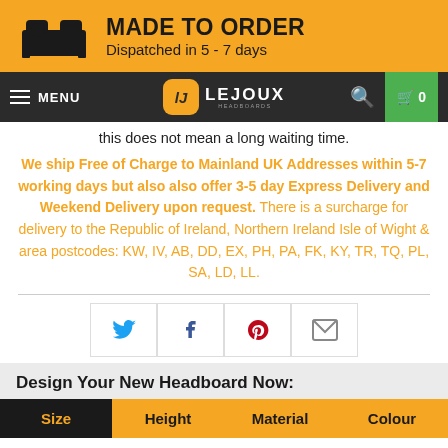[Figure (infographic): Made to order banner with bed icon, title MADE TO ORDER and subtitle Dispatched in 5 - 7 days on orange background]
[Figure (screenshot): Website navigation bar with hamburger menu, MENU label, Lejoux Headboards logo, search icon, and green cart button showing 0]
this does not mean a long waiting time.
We ship Free of Charge to Mainland UK Addresses within 5-7 working days but also also offer 3-5 day Express Delivery and Weekend Delivery upon request. There is a surcharge for delivery to the Republic of Ireland, Northern Ireland Isle of Wight & area postcodes: KW, IV, AB, DD, EX, PH, PA, FK, KY, TR, TQ, PL, SA, LD, LL.
[Figure (infographic): Social sharing icons row: Twitter (blue bird), Facebook (blue f), Pinterest (red P), Email (envelope)]
Design Your New Headboard Now:
| Size | Height | Material | Colour |
| --- | --- | --- | --- |